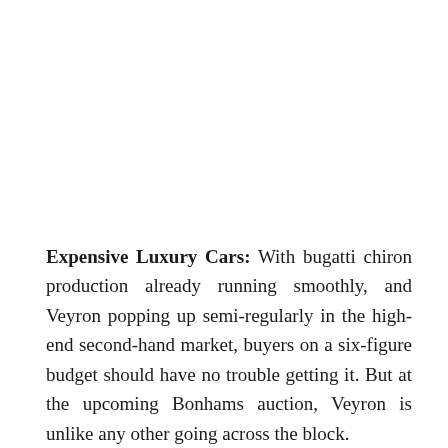Expensive Luxury Cars: With bugatti chiron production already running smoothly, and Veyron popping up semi-regularly in the high-end second-hand market, buyers on a six-figure budget should have no trouble getting it. But at the upcoming Bonhams auction, Veyron is unlike any other going across the block.